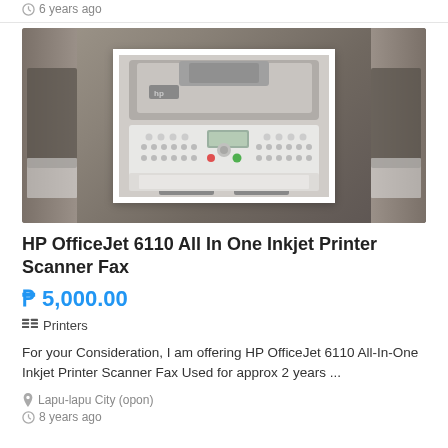6 years ago
[Figure (photo): HP OfficeJet 6110 All-In-One Inkjet Printer Scanner Fax — blurred product photo with a clearer inset image of the printer showing its control panel and buttons]
HP OfficeJet 6110 All In One Inkjet Printer Scanner Fax
₱ 5,000.00
Printers
For your Consideration, I am offering HP OfficeJet 6110 All-In-One Inkjet Printer Scanner Fax Used for approx 2 years ...
Lapu-lapu City (opon)
8 years ago